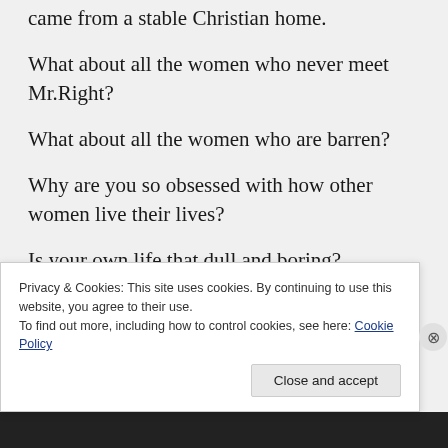came from a stable Christian home.
What about all the women who never meet Mr.Right?
What about all the women who are barren?
Why are you so obsessed with how other women live their lives?
Is your own life that dull and boring?
Privacy & Cookies: This site uses cookies. By continuing to use this website, you agree to their use.
To find out more, including how to control cookies, see here: Cookie Policy